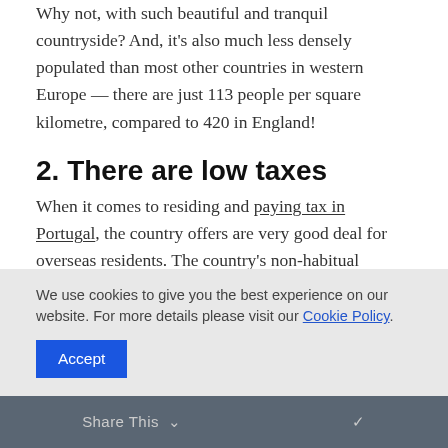Why not, with such beautiful and tranquil countryside? And, it's also much less densely populated than most other countries in western Europe — there are just 113 people per square kilometre, compared to 420 in England!
2. There are low taxes
When it comes to residing and paying tax in Portugal, the country offers are very good deal for overseas residents. The country's non-habitual resident (NHR) scheme gives special tax benefits t new arrivals for up to ten years. It was introduced 2009 with the aim of attracting more people to the
We use cookies to give you the best experience on our website. For more details please visit our Cookie Policy.
Accept
Share This